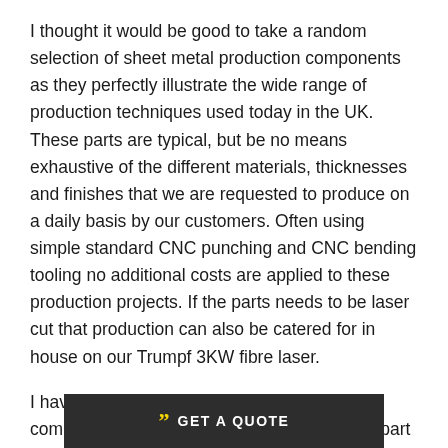I thought it would be good to take a random selection of sheet metal production components as they perfectly illustrate the wide range of production techniques used today in the UK. These parts are typical, but be no means exhaustive of the different materials, thicknesses and finishes that we are requested to produce on a daily basis by our customers. Often using simple standard CNC punching and CNC bending tooling no additional costs are applied to these production projects. If the parts needs to be laser cut that production can also be catered for in house on our Trumpf 3KW fibre laser.
I have given a little more detail for each of the components in the photo, their material type, part finish and producti... olete part.
GET A QUOTE